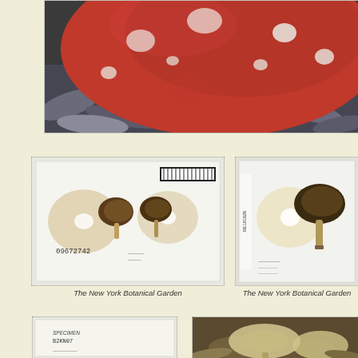[Figure (photo): Close-up photograph of a red mushroom cap with white spots (Amanita muscaria) lying among dead leaves on the ground]
[Figure (photo): Herbarium specimen photo showing dried mushrooms laid flat with label number 09672742, from The New York Botanical Garden]
The New York Botanical Garden
[Figure (photo): Herbarium specimen photo showing dried mushrooms laid flat with label number RE181929, from The New York Botanical Garden]
The New York Botanical Garden
[Figure (photo): Herbarium specimen photo showing dried mushroom specimens with handwritten label]
[Figure (photo): Photograph of mushrooms growing on forest floor among dead leaves]